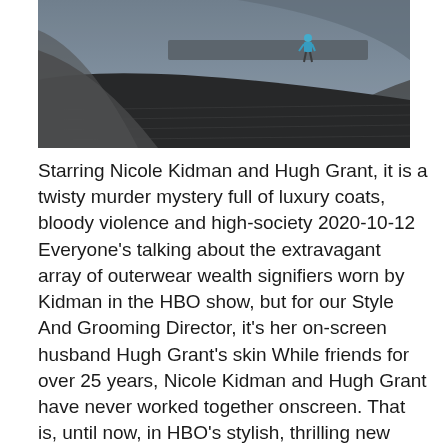[Figure (photo): A lone figure in a blue jacket walks across a large dark paved or brick surface, possibly a dam or industrial area, with curved concrete structures in the background under an overcast sky.]
Starring Nicole Kidman and Hugh Grant, it is a twisty murder mystery full of luxury coats, bloody violence and high-society 2020-10-12 Everyone's talking about the extravagant array of outerwear wealth signifiers worn by Kidman in the HBO show, but for our Style And Grooming Director, it's her on-screen husband Hugh Grant's skin While friends for over 25 years, Nicole Kidman and Hugh Grant have never worked together onscreen. That is, until now, in HBO's stylish, thrilling new series, The Undoing.Directed by Susanne 2021-02-04 Nicole Kidman and Hugh Grant were shocked by the story of The Undoing. HBO's new limited series from writer David E. Kelley (of Big Little Lies) is a thriller